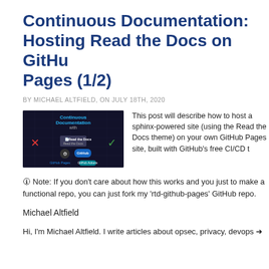Continuous Documentation: Hosting Read the Docs on GitHub Pages (1/2)
BY MICHAEL ALTFIELD, ON JULY 18TH, 2020
[Figure (photo): Thumbnail image showing 'Continuous Documentation with Read the Docs' — dark background with red X, GitHub and GitHub Actions logos, and a green checkmark]
This post will describe how to host a sphinx-powered site (using the Read the Docs theme) on your own GitHub Pages site, built with GitHub's free CI/CD t
🛈 Note: If you don't care about how this works and you just want to make a functional repo, you can just fork my 'rtd-github-pages' GitHub repo.
Michael Altfield
Hi, I'm Michael Altfield. I write articles about opsec, privacy, devops ➜